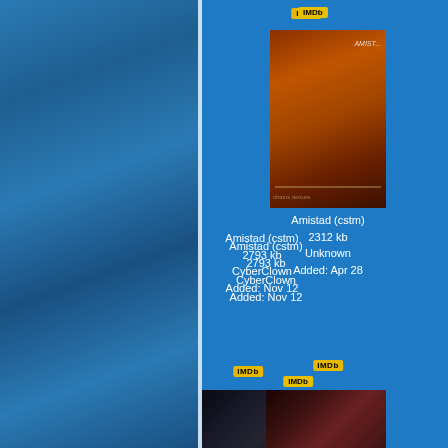[Figure (screenshot): IMDb badge at top center of right column]
Amistad (cstm)
2793 kb
CyberClown
Added: Nov 12
[Figure (screenshot): IMDb badge below Amistad left entry]
[Figure (photo): Amistad movie poster thumbnail - orange/brown tones]
Amistad (cstm)
2312 kb
Unknown
Added: Apr 28
[Figure (screenshot): IMDb badge below Amistad right entry]
[Figure (photo): Amityville Horror, The movie poster thumbnail - dark tones]
Amityville Horror, The (cstm)
6027 kb
NA
Added: Jun 22
[Figure (screenshot): IMDb badge below Amityville left entry]
[Figure (photo): Amityville Horror right movie poster thumbnail - red tones]
Amityville Horror, T (cstm)
5035 kb
NA
Added: Jun 27
[Figure (screenshot): IMDb badge below Amityville right entry]